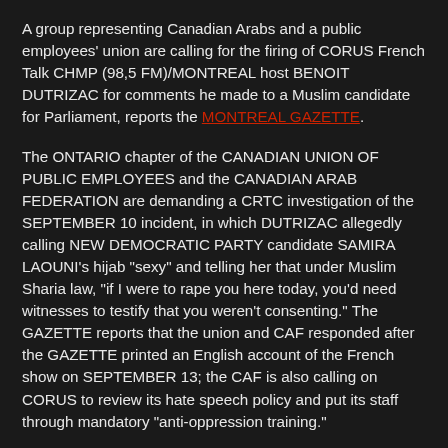A group representing Canadian Arabs and a public employees' union are calling for the firing of CORUS French Talk CHMP (98,5 FM)/MONTREAL host BENOIT DUTRIZAC for comments he made to a Muslim candidate for Parliament, reports the MONTREAL GAZETTE.
The ONTARIO chapter of the CANADIAN UNION OF PUBLIC EMPLOYEES and the CANADIAN ARAB FEDERATION are demanding a CRTC investigation of the SEPTEMBER 10 incident, in which DUTRIZAC allegedly calling NEW DEMOCRATIC PARTY candidate SAMIRA LAOUNI's hijab "sexy" and telling her that under Muslim Sharia law, "if I were to rape you here today, you'd need witnesses to testify that you weren't consenting." The GAZETTE reports that the union and CAF responded after the GAZETTE printed an English account of the French show on SEPTEMBER 13; the CAF is also calling on CORUS to review its hate speech policy and put its staff through mandatory "anti-oppression training."
DUTRIZAC told the GAZETTE in an e-mail, "I treated Mme. LAOUNI with respect and as a woman. I told her that her hijab was sexy to make her laugh so we could have an open discussion about religion and politics." In a separate e-mail, he